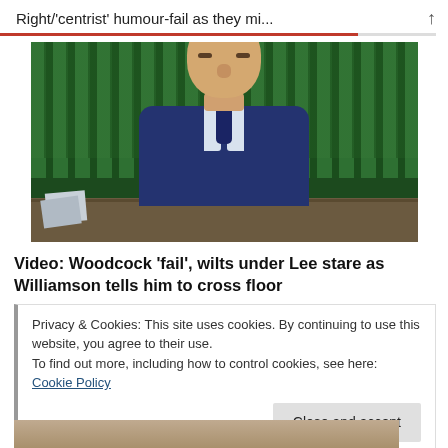Right/'centrist' humour-fail as they mi...
[Figure (photo): Photo of a man in a dark navy suit with grey hair, sitting in what appears to be the UK House of Commons chamber with green leather benches visible in the background.]
Video: Woodcock 'fail', wilts under Lee stare as Williamson tells him to cross floor
Privacy & Cookies: This site uses cookies. By continuing to use this website, you agree to their use.
To find out more, including how to control cookies, see here: Cookie Policy
Close and accept